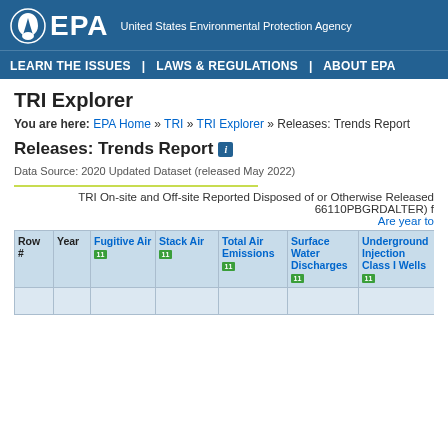EPA United States Environmental Protection Agency
LEARN THE ISSUES | LAWS & REGULATIONS | ABOUT EPA
TRI Explorer
You are here: EPA Home » TRI » TRI Explorer » Releases: Trends Report
Releases: Trends Report
Data Source: 2020 Updated Dataset (released May 2022)
TRI On-site and Off-site Reported Disposed of or Otherwise Released (66110PBGRDALTER) for Are year to
| Row # | Year | Fugitive Air | Stack Air | Total Air Emissions | Surface Water Discharges | Underground Injection Class I Wells | Underground Injection Class II Wells |
| --- | --- | --- | --- | --- | --- | --- | --- |